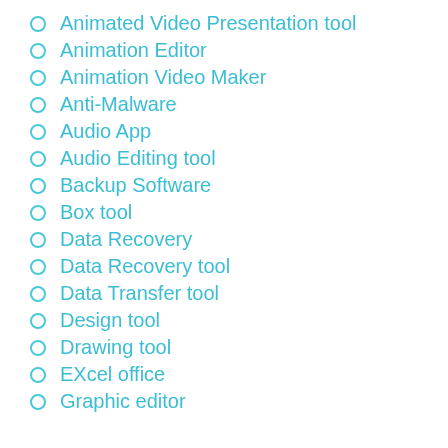Animated Video Presentation tool
Animation Editor
Animation Video Maker
Anti-Malware
Audio App
Audio Editing tool
Backup Software
Box tool
Data Recovery
Data Recovery tool
Data Transfer tool
Design tool
Drawing tool
EXcel office
Graphic editor